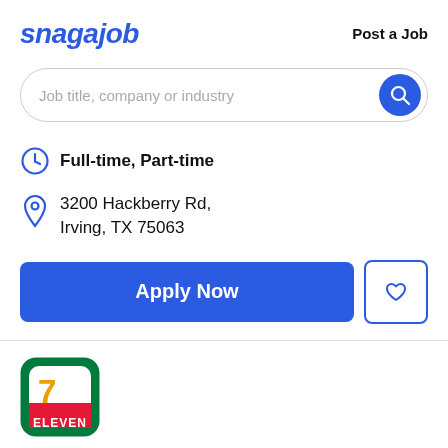[Figure (logo): Snagajob logo in bold italic blue text]
Post a Job
[Figure (screenshot): Search bar with placeholder text: Job title, company or industry, and a blue circle search button]
Full-time, Part-time
3200 Hackberry Rd, Irving, TX 75063
Apply Now
[Figure (logo): 7-Eleven company logo — green circle with red and orange 7 and ELEVEN text]